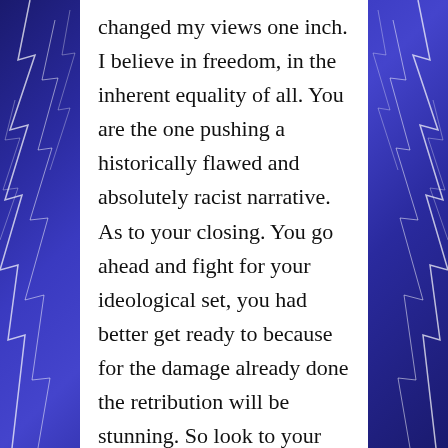changed my views one inch. I believe in freedom, in the inherent equality of all. You are the one pushing a historically flawed and absolutely racist narrative. As to your closing. You go ahead and fight for your ideological set, you had better get ready to because for the damage already done the retribution will be stunning. So look to your arms my friend because the denouement of this little propaganda play you've been